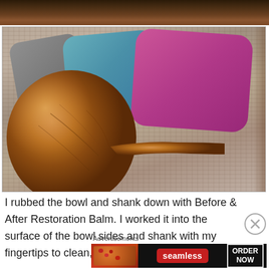[Figure (photo): Top partial photo showing what appears to be a dark-colored object or pipe bowl from above against a textured background]
[Figure (photo): Photo of a polished wooden tobacco pipe bowl and shank placed on a textured rug/textile, with colored leather pads (gray, blue/teal, pink/magenta) visible in the background]
I rubbed the bowl and shank down with Before & After Restoration Balm. I worked it into the surface of the bowl sides and shank with my fingertips to clean, enliven and
[Figure (other): Advertisement banner for Seamless food delivery service showing pizza image on left, Seamless red logo in center, and ORDER NOW button on right, with 'Advertisements' label above]